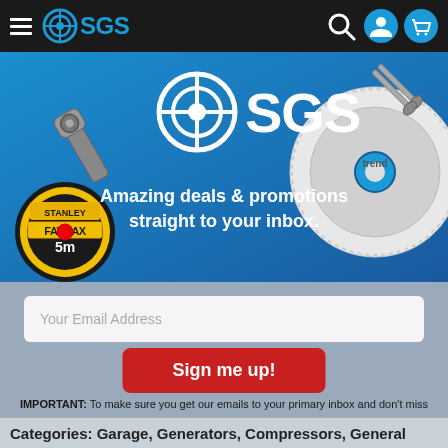SGS navigation bar with hamburger menu, SGS logo, search icon, user icon, cart icon
[Figure (illustration): SGS promotional banner with tools (ratchet wrench, Stanley FatMax tape measure, Trend saw blade, scissors) on blue background with SGS logo and text 'Amazing deals & promotions straight to your inbox.']
Your Email Address
Sign me up!
IMPORTANT: To make sure you get our emails to your primary inbox and don't miss out on time-limited offers, add deals@sgs-engineering.com to your address book or drag one of our emails from Promotions to Inbox and say yes to doing the same for future messages.
Categories: Garage, Generators, Compressors, General